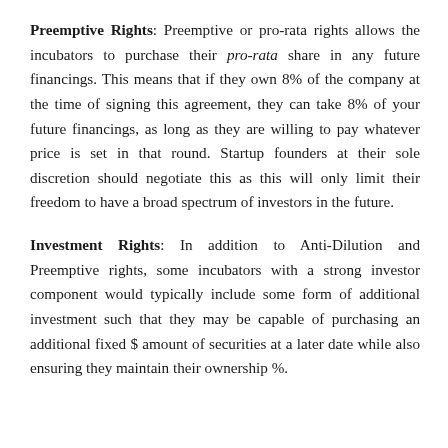Preemptive Rights: Preemptive or pro-rata rights allows the incubators to purchase their pro-rata share in any future financings. This means that if they own 8% of the company at the time of signing this agreement, they can take 8% of your future financings, as long as they are willing to pay whatever price is set in that round. Startup founders at their sole discretion should negotiate this as this will only limit their freedom to have a broad spectrum of investors in the future.
Investment Rights: In addition to Anti-Dilution and Preemptive rights, some incubators with a strong investor component would typically include some form of additional investment such that they may be capable of purchasing an additional fixed $ amount of securities at a later date while also ensuring they maintain their ownership %.